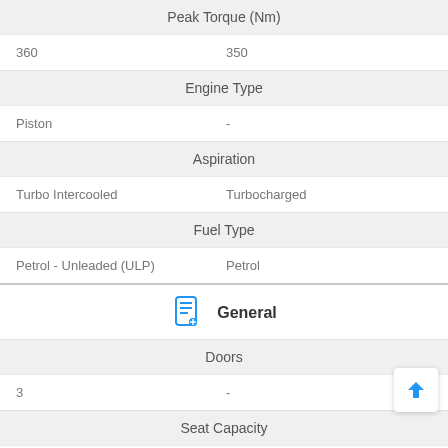Peak Torque (Nm)
360	350
Engine Type
Piston	-
Aspiration
Turbo Intercooled	Turbocharged
Fuel Type
Petrol - Unleaded (ULP)	Petrol
General
Doors
3	-
Seat Capacity
5	5